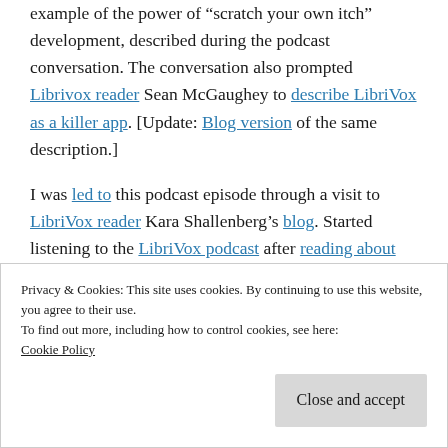example of the power of "scratch your own itch" development, described during the podcast conversation. The conversation also prompted Librivox reader Sean McGaughey to describe LibriVox as a killer app. [Update: Blog version of the same description.]
I was led to this podcast episode through a visit to LibriVox reader Kara Shallenberg's blog. Started listening to the LibriVox podcast after reading about LibriVox on fellow YulBlogger
Privacy & Cookies: This site uses cookies. By continuing to use this website, you agree to their use.
To find out more, including how to control cookies, see here: Cookie Policy
Close and accept